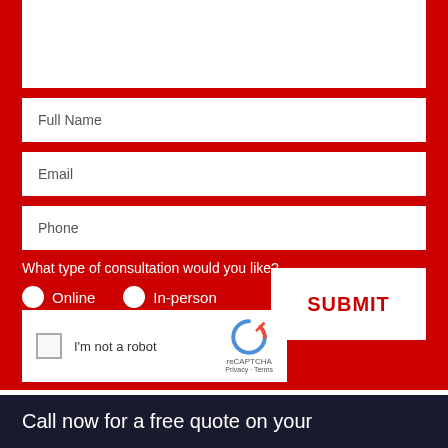[Figure (screenshot): A web form on a red background with text fields for Full Name, Email, Phone, radio buttons for consultation type (Online/In-person), a SUBMIT button, and a reCAPTCHA widget.]
What type of consultation would you like?
Online
In-person
SUBMIT
I'm not a robot
Call now for a free quote on your